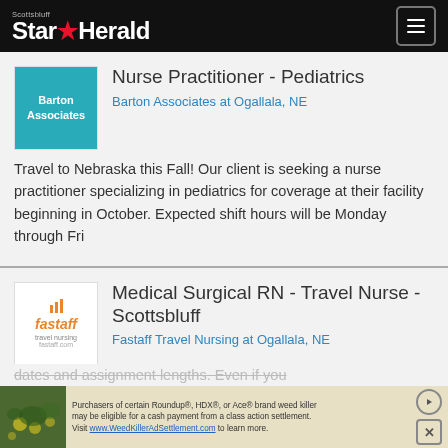Scottsbluff Star Herald
Nurse Practitioner - Pediatrics
Barton Associates at Ogallala, NE
Travel to Nebraska this Fall! Our client is seeking a nurse practitioner specializing in pediatrics for coverage at their facility beginning in October. Expected shift hours will be Monday through Fri
Medical Surgical RN - Travel Nurse - Scottsbluff
Fastaff Travel Nursing at Ogallala, NE
*** Due to the large need for nurses during the coronavirus outbreak, many of the ... art dates and assignment lengths. Even if you
Purchasers of certain Roundup®, HDX®, or Ace® brand weed killer may be eligible for a cash payment from a class action settlement. Visit www.WeedKillerAdSettlement.com to learn more.